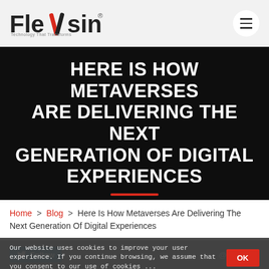Flexsin
HERE IS HOW METAVERSES ARE DELIVERING THE NEXT GENERATION OF DIGITAL EXPERIENCES
A well-engineered metaverse transforms the user experience, or UX, landscape. Think about it: A meta...
Home > Blog > Here Is How Metaverses Are Delivering The Next Generation Of Digital Experiences
Our website uses cookies to improve your user experience. If you continue browsing, we assume that you consent to our use of cookies ...
Follow @FLEXSIN